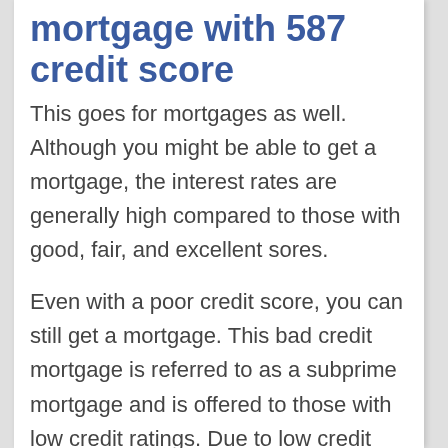mortgage with 587 credit score
This goes for mortgages as well. Although you might be able to get a mortgage, the interest rates are generally high compared to those with good, fair, and excellent sores.
Even with a poor credit score, you can still get a mortgage. This bad credit mortgage is referred to as a subprime mortgage and is offered to those with low credit ratings. Due to low credit scores, lenders will not offer you conventional